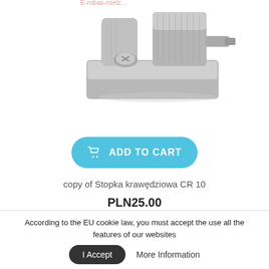[Figure (photo): Close-up photo of a metal sewing machine presser foot (edge foot CR 10), silver/chrome colored, showing mechanical details]
[Figure (other): Add to Cart button - blue rounded rectangle with shopping cart icon and text ADD TO CART]
copy of Stopka krawędziowa CR 10
PLN25.00
According to the EU cookie law, you must accept the use all the features of our websites
I Accept
More Information